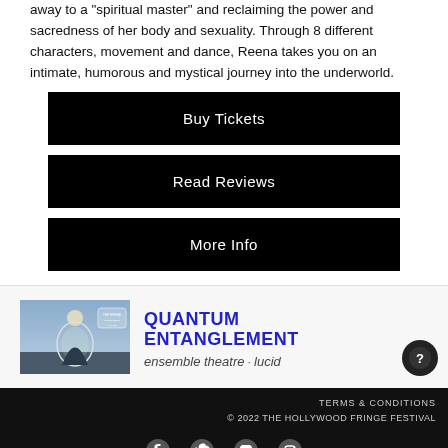away to a "spiritual master" and reclaiming the power and sacredness of her body and sexuality. Through 8 different characters, movement and dance, Reena takes you on an intimate, humorous and mystical journey into the underworld.
Buy Tickets
Read Reviews
More Info
[Figure (photo): Thumbnail image for Quantum Entanglement show — dark moody scene with a figure and a jar/lantern, award badge visible]
QUANTUM ENTANGLEMENT
ensemble theatre · lucid
TERMS & CONDITIONS
© 2022 THE HOLLYWOOD FRINGE FESTIVAL